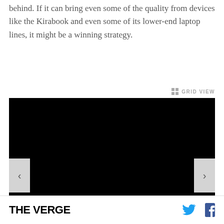behind. If it can bring even some of the quality from devices like the Kirabook and even some of its lower-end laptop lines, it might be a winning strategy.
[Figure (photo): A dark/black image displayed in a slideshow viewer with left and right navigation arrows, and a GRID VIEW option in the top right corner.]
THE VERGE